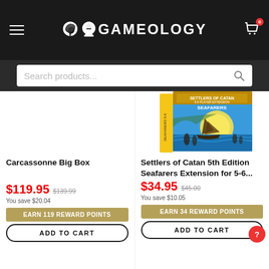GAMEOLOGY
Search products...
[Figure (photo): Settlers of Catan 5th Edition Seafarers Extension board game box — blue box with a sailing ship and people wading through water under a large sun]
Carcassonne Big Box
Settlers of Catan 5th Edition Seafarers Extension for 5-6...
$119.95  $139.99  You save $20.04
EARN 119 REWARD POINTS
ADD TO CART
$34.95  $45.00  You save $10.05
EARN 34 REWARD POINTS
ADD TO CART